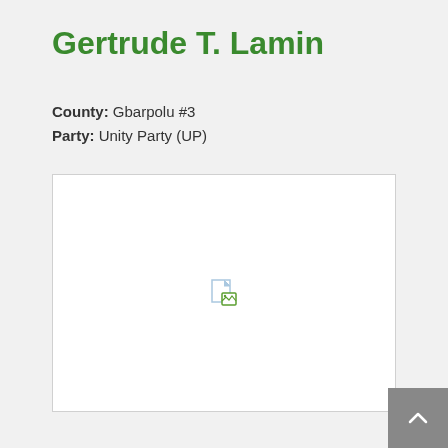Gertrude T. Lamin
County: Gbarpolu #3
Party: Unity Party (UP)
[Figure (photo): Portrait photo placeholder with broken image icon]